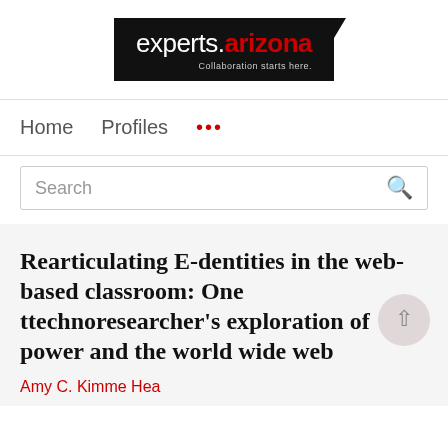[Figure (logo): experts.arizona logo — black rectangle with white text 'experts.' and red bold '.arizona', subtitle 'Collaboration starts here.']
Home   Profiles   ...
Search
Rearticulating E-dentities in the web-based classroom: One ttechnoresearcher's exploration of power and the world wide web
Amy C. Kimme Hea